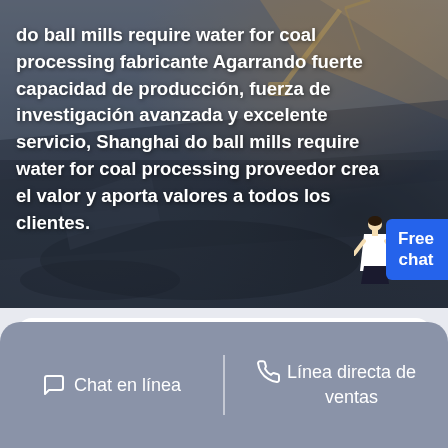[Figure (photo): Aerial view of a mining or coal quarry operation with heavy machinery (excavator visible), dark rocky terrain with earth tones. A woman figure (customer service representative) is overlaid in the bottom right. A blue 'Free chat' button badge is in the lower right corner. White text overlay describes the company.]
do ball mills require water for coal processing fabricante Agarrando fuerte capacidad de producción, fuerza de investigación avanzada y excelente servicio, Shanghai do ball mills require water for coal processing proveedor crea el valor y aporta valores a todos los clientes.
Obtener do ball mills require water for coal processing Precio
supplier@fr...
Chat en línea  |  Línea directa de ventas